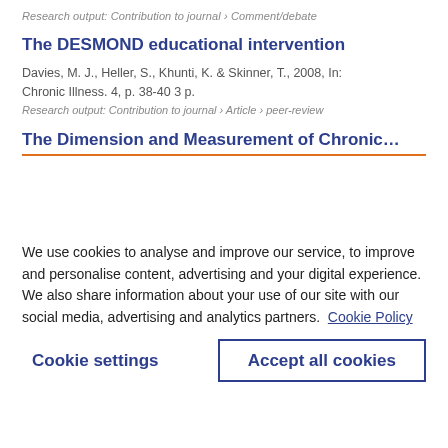Research output: Contribution to journal › Comment/debate
The DESMOND educational intervention
Davies, M. J., Heller, S., Khunti, K. & Skinner, T., 2008, In: Chronic Illness. 4, p. 38-40 3 p.
Research output: Contribution to journal › Article › peer-review
The Dimension and Measurement of Chronic...
We use cookies to analyse and improve our service, to improve and personalise content, advertising and your digital experience. We also share information about your use of our site with our social media, advertising and analytics partners. Cookie Policy
Cookie settings
Accept all cookies